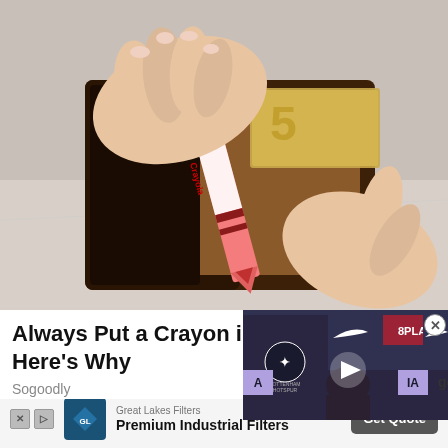[Figure (photo): A person holding open a brown leather wallet with a pink Crayola crayon inside where money would be, and some bills visible behind it, on a white surface.]
Always Put a Crayon in Your Wallet. Here's Why
Sogoodly
[Figure (screenshot): Video overlay thumbnail showing a Tottenham Hotspur press conference with a person seated at a table. Logos for Nike, 8PLAY, and other sponsors visible in the background. A white play button triangle is centered on the image.]
[Figure (logo): Great Lakes Filters logo - blue diamond shape with company name]
Great Lakes Filters
Premium Industrial Filters
Get Quote